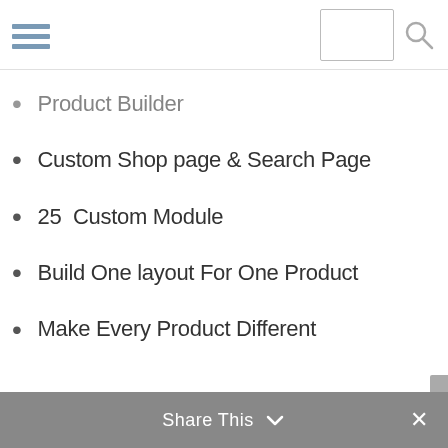Navigation header with hamburger menu and search box
Product Builder
Custom Shop page & Search Page
25  Custom Module
Build One layout For One Product
Make Every Product Different
Share This ∨  ✕